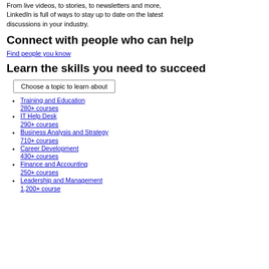From live videos, to stories, to newsletters and more, LinkedIn is full of ways to stay up to date on the latest discussions in your industry.
Connect with people who can help
Find people you know
Learn the skills you need to succeed
Choose a topic to learn about
Training and Education
280+ courses
IT Help Desk
290+ courses
Business Analysis and Strategy
710+ courses
Career Development
430+ courses
Finance and Accounting
250+ courses
Leadership and Management
1,200+ course